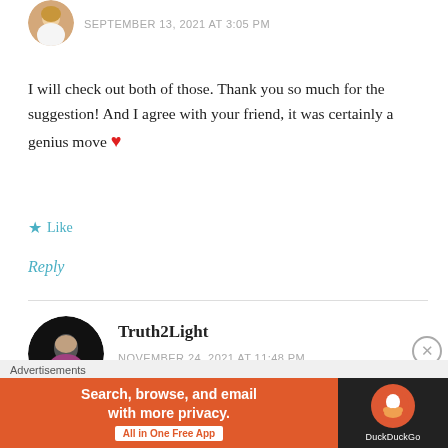[Figure (photo): Circular avatar of a blonde woman, top left]
SEPTEMBER 13, 2021 AT 3:05 PM
I will check out both of those. Thank you so much for the suggestion! And I agree with your friend, it was certainly a genius move ❤
★ Like
Reply
[Figure (photo): Circular avatar of a person in dark background, second commenter Truth2Light]
Truth2Light
NOVEMBER 24, 2021 AT 11:48 PM
Well... ❤
[Figure (other): DuckDuckGo advertisement banner: Search, browse, and email with more privacy. All in One Free App]
Advertisements